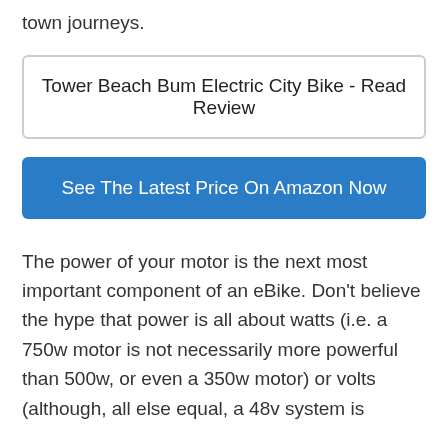town journeys.
Tower Beach Bum Electric City Bike - Read Review
See The Latest Price On Amazon Now
The power of your motor is the next most important component of an eBike. Don't believe the hype that power is all about watts (i.e. a 750w motor is not necessarily more powerful than 500w, or even a 350w motor) or volts (although, all else equal, a 48v system is